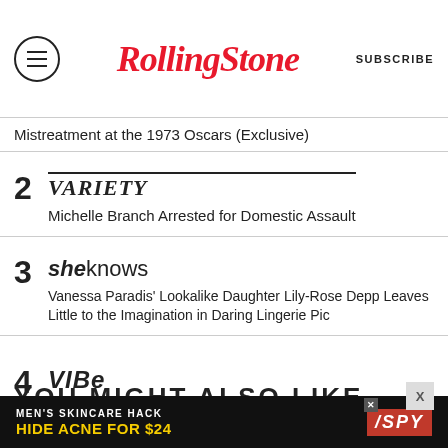Rolling Stone | SUBSCRIBE
Mistreatment at the 1973 Oscars (Exclusive)
2 | Variety | Michelle Branch Arrested for Domestic Assault
3 | SheKnows | Vanessa Paradis' Lookalike Daughter Lily-Rose Depp Leaves Little to the Imagination in Daring Lingerie Pic
4 | VIBE | 2 Chainz To Expand Restaurant Business After Settling Lawsuit With Pablo Escobar's Family
YOU MIGHT ALSO LIKE
[Figure (infographic): Advertisement banner: MEN'S SKINCARE HACK HIDE ACNE FOR $24 with SPY logo]